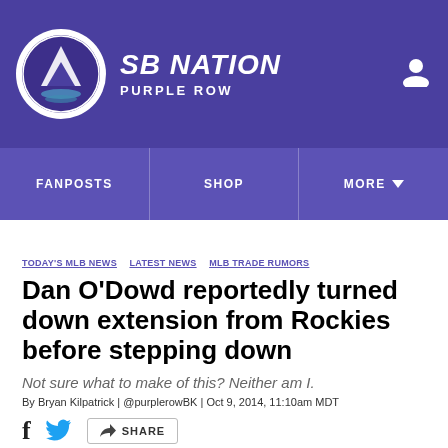SBNation / Purple Row
FANPOSTS | SHOP | MORE
TODAY'S MLB NEWS  LATEST NEWS  MLB TRADE RUMORS
Dan O'Dowd reportedly turned down extension from Rockies before stepping down
Not sure what to make of this? Neither am I.
By Bryan Kilpatrick | @purplerowBK | Oct 9, 2014, 11:10am MDT
SHARE